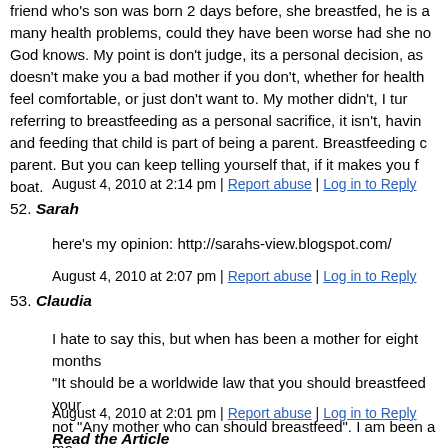friend who's son was born 2 days before, she breastfed, he is a... many health problems, could they have been worse had she no... God knows. My point is don't judge, its a personal decision, as... doesn't make you a bad mother if you don't, whether for health... feel comfortable, or just don't want to. My mother didn't, I tur... referring to breastfeeding as a personal sacrifice, it isn't, havin... and feeding that child is part of being a parent. Breastfeeding c... parent. But you can keep telling yourself that, if it makes you f... boat.
August 4, 2010 at 2:14 pm | Report abuse | Log in to Reply
52. Sarah
here's my opinion: http://sarahs-view.blogspot.com/
August 4, 2010 at 2:07 pm | Report abuse | Log in to Reply
53. Claudia
I hate to say this, but when has been a mother for eight months... "It should be a worldwide law that you should breastfeed your... not "Any mother who can should breastfeed". I am been a mo... and a 9 month old. I think that those of us with older child kno... more Gisele next time you talk don't forget to say "THIS IS IN...
August 4, 2010 at 2:01 pm | Report abuse | Log in to Reply
Read the Article